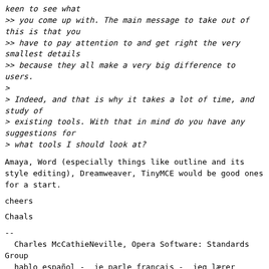keen to see what
>> you come up with. The main message to take out of this is that you
>> have to pay attention to and get right the very smallest details
>> because they all make a very big difference to users.
>
> Indeed, and that is why it takes a lot of time, and study of
> existing tools. With that in mind do you have any suggestions for
> what tools I should look at?
Amaya, Word (especially things like outline and its style editing), Dreamweaver, TinyMCE would be good ones for a start.
cheers
Chaals
--
  Charles McCathieNeville, Opera Software: Standards Group
  hablo español -  je parle français -  jeg lærer norsk
chaals at opera.com        Try Opera 9.1
http://opera.com